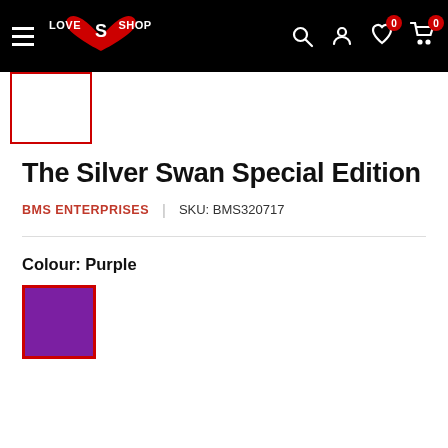Love Shop navigation bar with logo, hamburger menu, search, account, wishlist (0), cart (0)
[Figure (screenshot): Small product thumbnail stub with red border at top left]
The Silver Swan Special Edition
BMS ENTERPRISES | SKU: BMS320717
Colour: Purple
[Figure (illustration): Purple colour swatch square with red border]